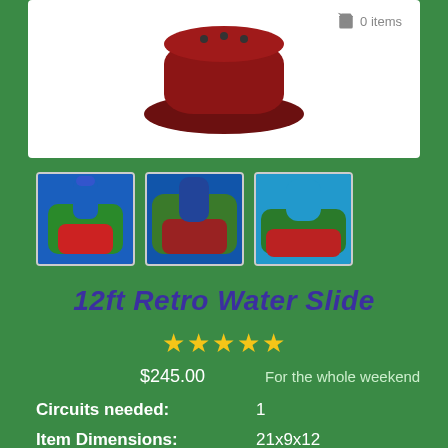[Figure (photo): Top portion of inflatable water slide product image in white box, reddish-maroon color, with shopping cart icon showing 0 items]
[Figure (photo): Thumbnail 1: Blue and green inflatable water slide with red base]
[Figure (photo): Thumbnail 2: Blue and green water slide from different angle]
[Figure (photo): Thumbnail 3: Water slide with blue top, green and red base]
12ft Retro Water Slide
★★★★★
$245.00    For the whole weekend
Circuits needed: 1
Item Dimensions: 21x9x12
Space Needed: 24x11x12